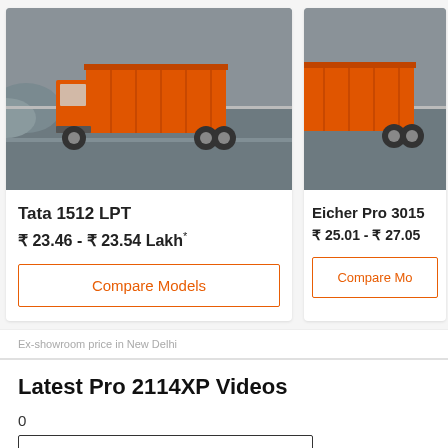[Figure (photo): Orange Tata 1512 LPT truck driving on a highway, aerial/side view]
Tata 1512 LPT
₹ 23.46 - ₹ 23.54 Lakh*
Compare Models
[Figure (photo): Orange Eicher Pro 3015 truck driving on a highway, partial view cropped on right]
Eicher Pro 3015
₹ 25.01 - ₹ 27.05
Compare Mo
Ex-showroom price in New Delhi
Latest Pro 2114XP Videos
0
Get On Road Price